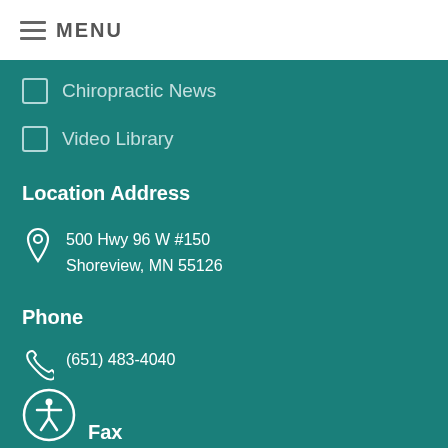MENU
Chiropractic News
Video Library
Location Address
500 Hwy 96 W #150
Shoreview, MN 55126
Phone
(651) 483-4040
Fax